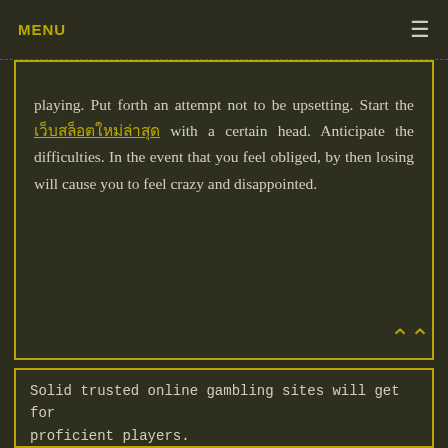MENU
playing. Put forth an attempt not to be upsetting. Start the เว็บสล็อตใหม่ล่าสุด with a certain head. Anticipate the difficulties. In the event that you feel obliged, by then losing will cause you to feel crazy and disappointed.
Solid trusted online gambling sites will get for proficient players.